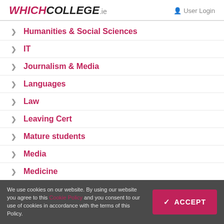WHICHCOLLEGE.ie | User Login
Humanities & Social Sciences
IT
Journalism & Media
Languages
Law
Leaving Cert
Mature students
Media
Medicine
We use cookies on our website. By using our website you agree to this Cookie Policy and you consent to our use of cookies in accordance with the terms of this Policy.